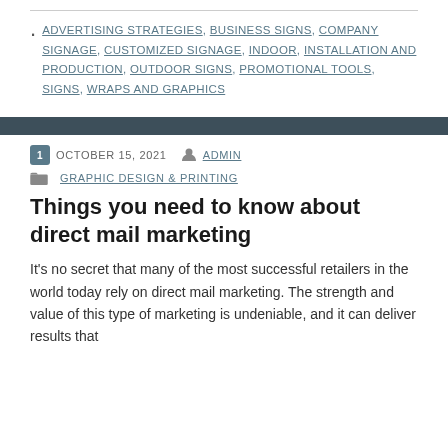ADVERTISING STRATEGIES, BUSINESS SIGNS, COMPANY SIGNAGE, CUSTOMIZED SIGNAGE, INDOOR, INSTALLATION AND PRODUCTION, OUTDOOR SIGNS, PROMOTIONAL TOOLS, SIGNS, WRAPS AND GRAPHICS
OCTOBER 15, 2021  ADMIN  GRAPHIC DESIGN & PRINTING
Things you need to know about direct mail marketing
It's no secret that many of the most successful retailers in the world today rely on direct mail marketing. The strength and value of this type of marketing is undeniable, and it can deliver results that